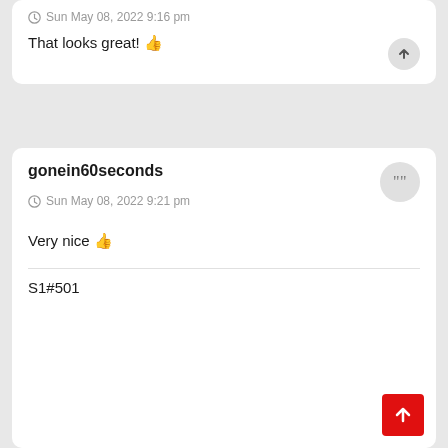Sun May 08, 2022 9:16 pm
That looks great! 👍
gonein60seconds
Sun May 08, 2022 9:21 pm
Very nice 👍
S1#501